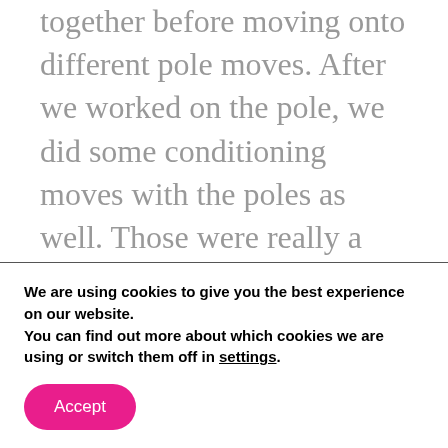together before moving onto different pole moves. After we worked on the pole, we did some conditioning moves with the poles as well. Those were really a workout on my arms, legs, and abs. Like I said, I hurt for days.
Poles are usually associated with
We are using cookies to give you the best experience on our website.
You can find out more about which cookies we are using or switch them off in settings.
Accept